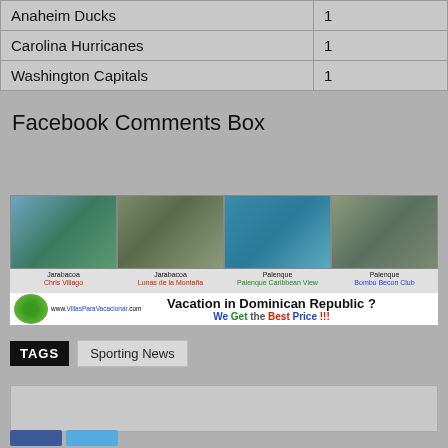| Team | Count |
| --- | --- |
| Anaheim Ducks | 1 |
| Carolina Hurricanes | 1 |
| Washington Capitals | 1 |
Facebook Comments Box
[Figure (photo): Advertisement banner for VillasParaVacacionar.com showing four vacation property photos from Jarabacoa and Palenque in Dominican Republic, with the text 'Vacation in Dominican Republic ? We Get the Best Price !!!'.]
TAGS  Sporting News